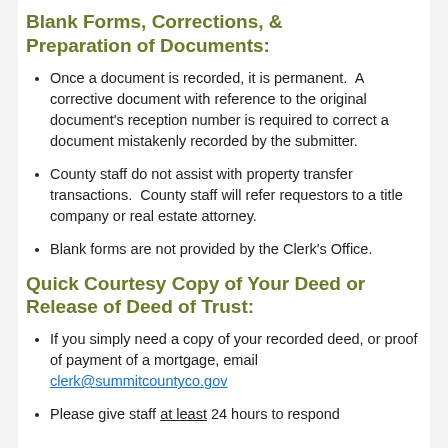Blank Forms, Corrections, & Preparation of Documents:
Once a document is recorded, it is permanent. A corrective document with reference to the original document's reception number is required to correct a document mistakenly recorded by the submitter.
County staff do not assist with property transfer transactions. County staff will refer requestors to a title company or real estate attorney.
Blank forms are not provided by the Clerk's Office.
Quick Courtesy Copy of Your Deed or Release of Deed of Trust:
If you simply need a copy of your recorded deed, or proof of payment of a mortgage, email clerk@summitcountyco.gov
Please give staff at least 24 hours to respond